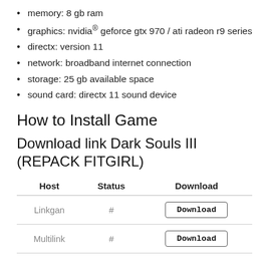memory: 8 gb ram
graphics: nvidia® geforce gtx 970 / ati radeon r9 series
directx: version 11
network: broadband internet connection
storage: 25 gb available space
sound card: directx 11 sound device
How to Install Game
Download link Dark Souls III (REPACK FITGIRL)
| Host | Status | Download |
| --- | --- | --- |
| Linkgan | # | Download |
| Multilink | # | Download |